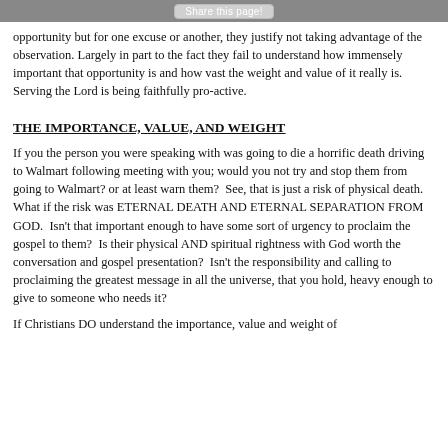Share this page!
opportunity but for one excuse or another, they justify not taking advantage of the observation. Largely in part to the fact they fail to understand how immensely important that opportunity is and how vast the weight and value of it really is.  Serving the Lord is being faithfully pro-active.
THE IMPORTANCE, VALUE, AND WEIGHT
If you the person you were speaking with was going to die a horrific death driving to Walmart following meeting with you; would you not try and stop them from going to Walmart? or at least warn them?  See, that is just a risk of physical death.  What if the risk was ETERNAL DEATH AND ETERNAL SEPARATION FROM GOD.  Isn't that important enough to have some sort of urgency to proclaim the gospel to them?  Is their physical AND spiritual rightness with God worth the conversation and gospel presentation?  Isn't the responsibility and calling to proclaiming the greatest message in all the universe, that you hold, heavy enough to give to someone who needs it?
If Christians DO understand the importance, value and weight of